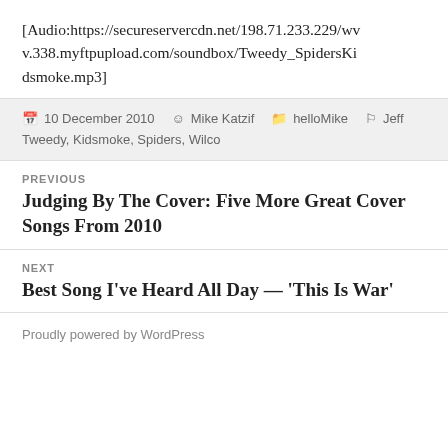[Audio:https://secureservercdn.net/198.71.233.229/wvv.338.myftpupload.com/soundbox/Tweedy_SpidersKidsmoke.mp3]
10 December 2010  Mike Katzif  helloMike  Jeff Tweedy, Kidsmoke, Spiders, Wilco
PREVIOUS
Judging By The Cover: Five More Great Cover Songs From 2010
NEXT
Best Song I’ve Heard All Day — ‘This Is War’
Proudly powered by WordPress